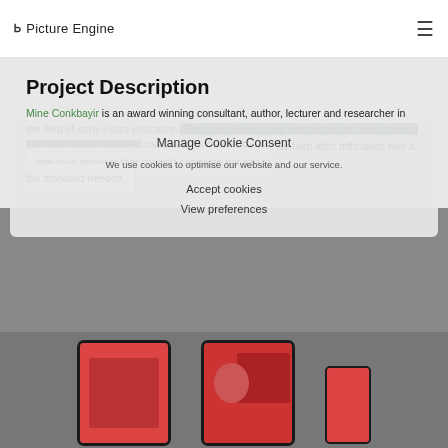PE Picture Engine
Project Description
Mine Conkbayir is an award winning consultant, author, lecturer and researcher in the field of early years education. She specialises in the intersection of neuroscience and early years learning. She came to Picture Engine for help after difficulties with a previous provider that couldn't complete her site to the standard needed.
Manage Cookie Consent
We use cookies to optimise our website and our service.
Accept cookies
View preferences
[Figure (screenshot): Two tablet devices and a smartphone showing a website with red/pink content, partially visible at bottom of page]